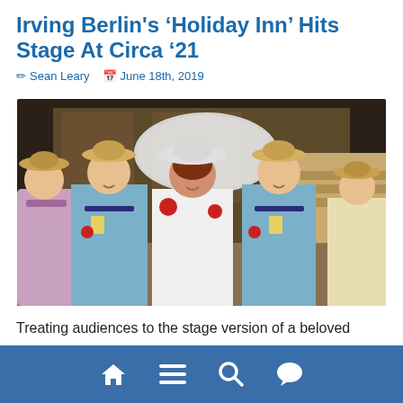Irving Berlin's ‘Holiday Inn’ Hits Stage At Circa ’21
Sean Leary  June 18th, 2019
[Figure (photo): Stage performers in colorful 1940s costumes — two men in light blue blazers and straw boater hats flanking a woman in a white dress with a large white parasol, with additional performers at the edges, all performing on a theatrical stage set.]
Treating audiences to the stage version of a beloved